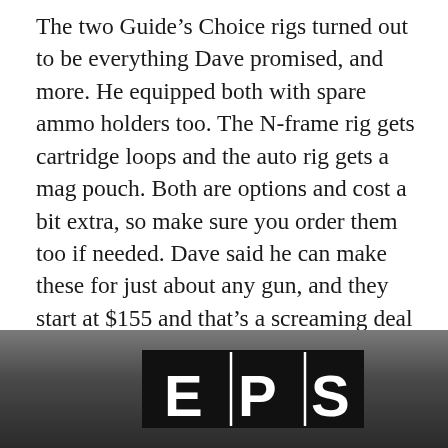The two Guide’s Choice rigs turned out to be everything Dave promised, and more. He equipped both with spare ammo holders too. The N-frame rig gets cartridge loops and the auto rig gets a mag pouch. Both are options and cost a bit extra, so make sure you order them too if needed. Dave said he can make these for just about any gun, and they start at $155 and that’s a screaming deal if you ask me. If the barrel length is longer than 7″ call Dave for a quote.
[Figure (logo): EPS logo on a dark gradient background. Black rectangle containing the letters E, P, S in white, separated by vertical lines.]